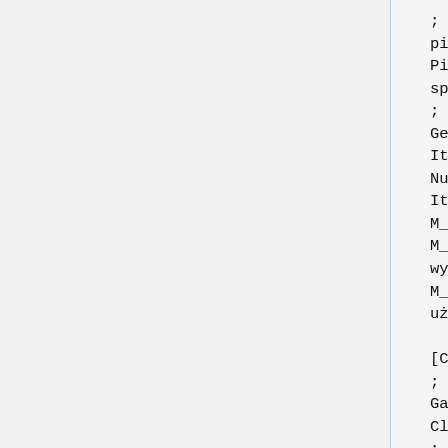; EN: PickupMessage="You picked up the SCUBA Gear"
PickupMessage="Podnosisz sprzęt do Nurkowania"
; EN: ItemName="SCUBA Gear"
ItemName="Sprzęt do Nurkowania"
ItemArticle=" "
M_Activated=" włączony."
M_Deactivated=" wyłączony."
M_Selected=" gotowy do użycia."

[CoopGame]
; EN: ClassCaption="Coop Game"
ClassCaption="Współpraca"
; EN: GameName="Coop Game"
GameName="Współpraca"

[UnrealHelpMenu]
; EN: HelpMessage[1]="Open the troubleshooting